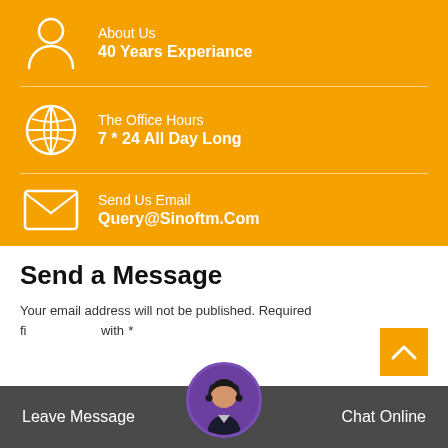About Us
40 Years Experiance
The Office Hours
7 * 24 All Day Long
Send Us Email
Query@Sinoftm.Com
Send a Message
Your email address will not be published. Required fields are marked with *
Leave Message
Chat Online